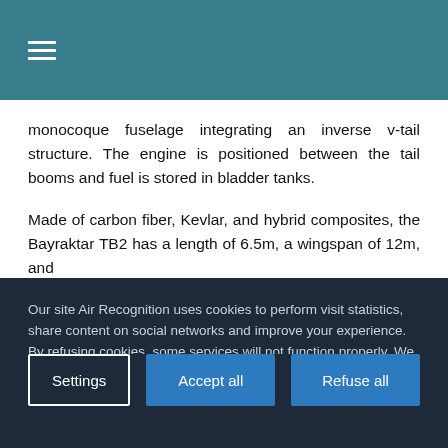☰
monocoque fuselage integrating an inverse v-tail structure. The engine is positioned between the tail booms and fuel is stored in bladder tanks.

Made of carbon fiber, Kevlar, and hybrid composites, the Bayraktar TB2 has a length of 6.5m, a wingspan of 12m, and …
Our site Air Recognition uses cookies to perform visit statistics, share content on social networks and improve your experience. By refusing cookies, some services will not function properly. We store your choice for 30 days. You can change your mind by clicking on the 'Cookies' button at the bottom left of every page of our site. Learn more
Settings | Accept all | Refuse all